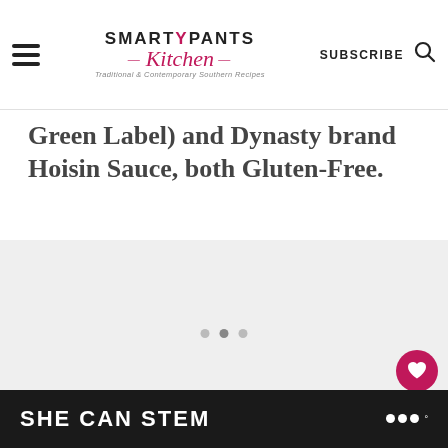SMARTYPANTS Kitchen — Traditional & Contemporary Southern Recipes — SUBSCRIBE
Green Label) and Dynasty brand Hoisin Sauce, both Gluten-Free.
[Figure (photo): Light grey placeholder image area with carousel dots at bottom]
SHE CAN STEM